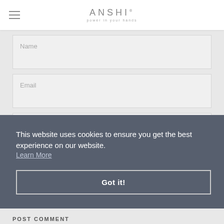ANSHI power in your hands
Name
Email
Content
This website uses cookies to ensure you get the best experience on our website.
Learn More
Got it!
shed
POST COMMENT